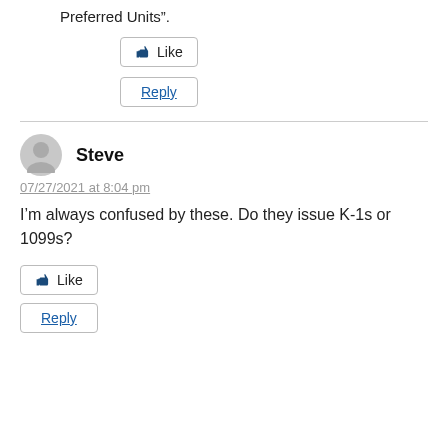Preferred Units”.
[Figure (other): Like button with thumbs up icon]
[Figure (other): Reply button]
Steve
07/27/2021 at 8:04 pm
I’m always confused by these. Do they issue K-1s or 1099s?
[Figure (other): Like button with thumbs up icon]
[Figure (other): Reply button]